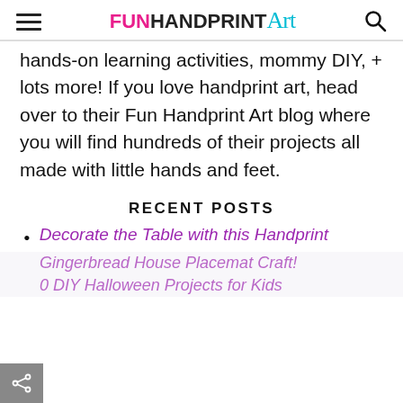FUN HANDPRINT Art
hands-on learning activities, mommy DIY, + lots more! If you love handprint art, head over to their Fun Handprint Art blog where you will find hundreds of their projects all made with little hands and feet.
RECENT POSTS
Decorate the Table with this Handprint
Gingerbread House Placemat Craft!
0 DIY Halloween Projects for Kids